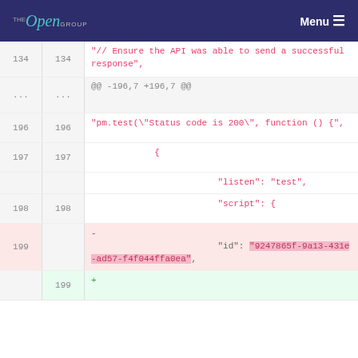THE Open GROUP  Menu
Code diff view showing lines 134, ..., 196-199 of a file. Line 134 shows a comment '// Ensure the API was able to send a successful response'. Lines show pm.test status code check, JSON with listen and script fields, and line 199 (deleted) showing an id field with value '9247865f-9a13-431e-ad57-f4f044ffa0ea'.